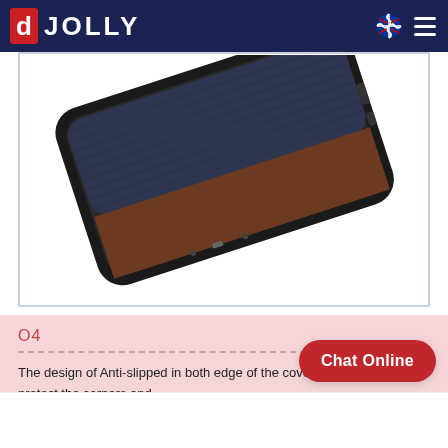JOLLY
[Figure (photo): A smartphone back cover case with dark navy fabric texture on the top portion and brown leather on the bottom portion, with black TPU bumper edges, displayed at an angle showing the side buttons and ports.]
O4
The design of Anti-slipped in both edge of the cover, it's protect the corners and
Chat Online